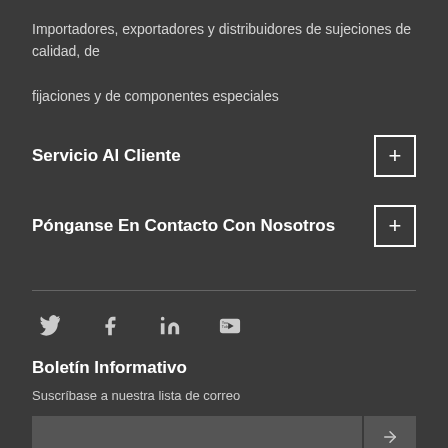Importadores, exportadores y distribuidores de sujeciones de calidad, de fijaciones y de componentes especiales
Servicio Al Cliente
Pónganse En Contacto Con Nosotros
[Figure (other): Social media icons: Twitter, Facebook, LinkedIn, YouTube]
Boletín Informativo
Suscríbase a nuestra lista de correo